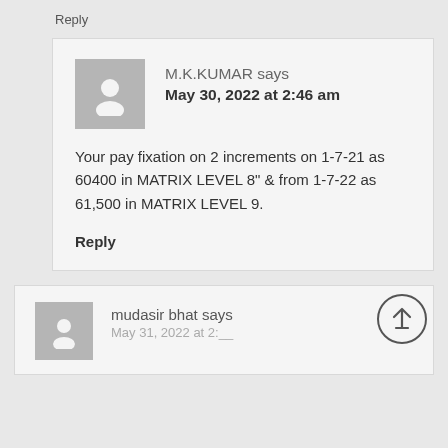Reply
M.K.KUMAR says
May 30, 2022 at 2:46 am
Your pay fixation on 2 increments on 1-7-21 as 60400 in MATRIX LEVEL 8" & from 1-7-22 as 61,500 in MATRIX LEVEL 9.
Reply
mudasir bhat says